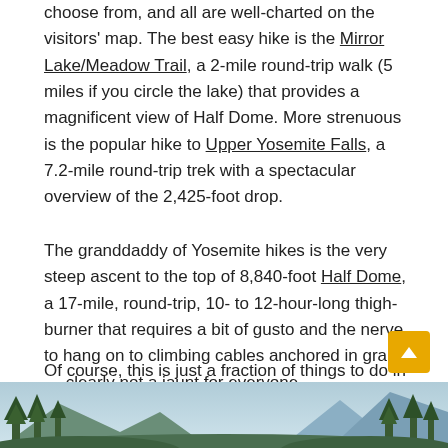choose from, and all are well-charted on the visitors' map. The best easy hike is the Mirror Lake/Meadow Trail, a 2-mile round-trip walk (5 miles if you circle the lake) that provides a magnificent view of Half Dome. More strenuous is the popular hike to Upper Yosemite Falls, a 7.2-mile round-trip trek with a spectacular overview of the 2,425-foot drop.
The granddaddy of Yosemite hikes is the very steep ascent to the top of 8,840-foot Half Dome, a 17-mile, round-trip, 10- to 12-hour-long thigh-burner that requires a bit of gusto and the nerve to hang on to climbing cables anchored in granite — clearly not a jaunt for everyone.
Of course, this is just a fraction of things to do in the park. For a comprehensive list of activities and adventures in Yosemite, click here.
[Figure (photo): Landscape photo of Yosemite valley showing trees in foreground and mountain peaks in background]